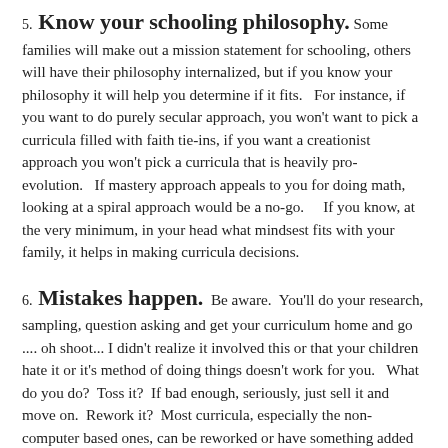5. Know your schooling philosophy. Some families will make out a mission statement for schooling, others will have their philosophy internalized, but if you know your philosophy it will help you determine if it fits.   For instance, if you want to do purely secular approach, you won't want to pick a curricula filled with faith tie-ins, if you want a creationist approach you won't pick a curricula that is heavily pro-evolution.   If mastery approach appeals to you for doing math, looking at a spiral approach would be a no-go.     If you know, at the very minimum, in your head what mindsest fits with your family, it helps in making curricula decisions.
6. Mistakes happen.  Be aware.  You'll do your research, sampling, question asking and get your curriculum home and go .... oh shoot... I didn't realize it involved this or that your children hate it or it's method of doing things doesn't work for you.   What do you do?  Toss it?  If bad enough, seriously, just sell it and move on.  Rework it?  Most curricula, especially the non-computer based ones, can be reworked or have something added to it to make it bearable.  Ignore sections.. sometimes that is all you need to do.   Figure out what